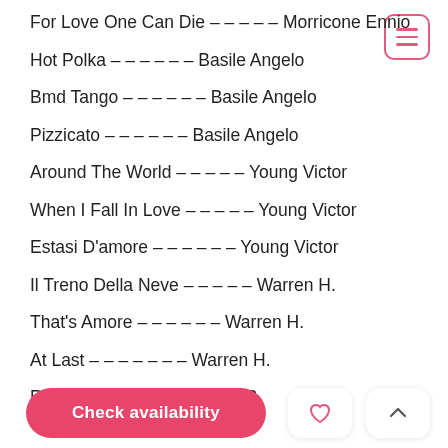For Love One Can Die - - - - - Morricone Ennio
Hot Polka - - - - - - Basile Angelo
Bmd Tango - - - - - - Basile Angelo
Pizzicato - - - - - - Basile Angelo
Around The World - - - - - Young Victor
When I Fall In Love - - - - - Young Victor
Estasi D'amore - - - - - - Young Victor
Il Treno Della Neve - - - - - Warren H.
That's Amore - - - - - - Warren H.
At Last - - - - - - - Warren H.
Raindrops ... H. ... B. ... B.